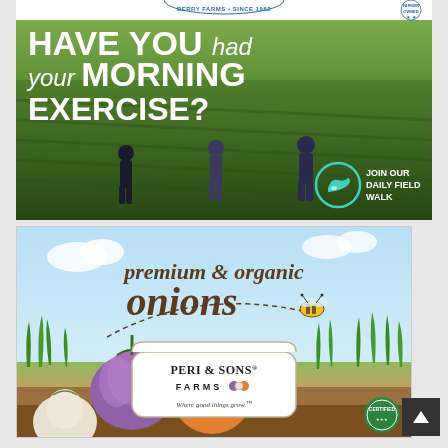[Figure (photo): Top advertisement for Berry Farms (since 1962). Background shows aerial green crop field with three people walking. Bold white text reads 'HAVE YOU had your MORNING EXERCISE?' with a teal running shoe icon and white text 'JOIN OUR DAILY FIELD WALK'. Header bar reads 'BERRY FARMS • SINCE 1962' and 'FARMER OWNED' with star icons.]
[Figure (illustration): Bottom advertisement for Peri & Sons Farms. Light blue sky background with illustrated grass and onion bulbs (purple, yellow, white). A cartoon bee flying along a dashed arc path. Brown text 'premium & organic onions' in cursive/italic style. White shield-shaped logo badge with 'PERI & SONS FARMS' and tagline 'Where good things grow.' with small onion icons and a certified seal in corner.]